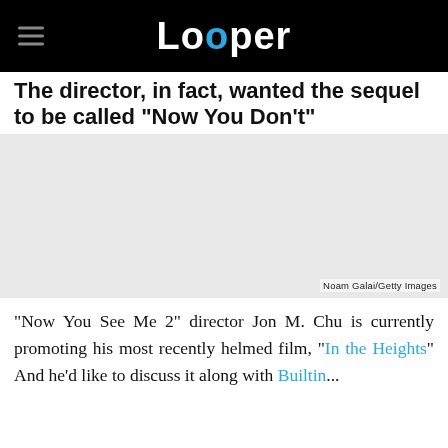Looper
The director, in fact, wanted the sequel to be called "Now You Don't"
[Figure (photo): Large image placeholder (photo, likely related to the article about Jon M. Chu and Now You See Me 2). Credit: Noam Galai/Getty Images]
Noam Galai/Getty Images
"Now You See Me 2" director Jon M. Chu is currently promoting his most recently helmed film, "In the Heights" And he'd like to share some with Builtin...